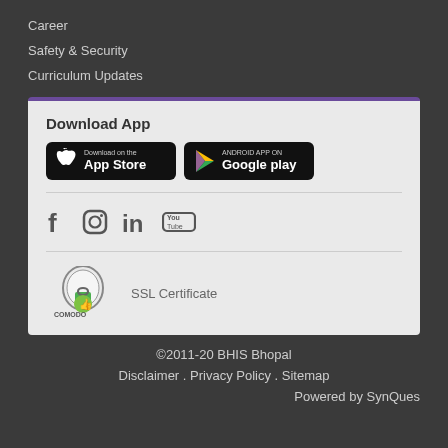Career
Safety & Security
Curriculum Updates
[Figure (screenshot): Download App card with App Store and Google Play buttons, social media icons (Facebook, Instagram, LinkedIn, YouTube), and Comodo SSL Certificate badge]
©2011-20 BHIS Bhopal
Disclaimer . Privacy Policy . Sitemap
Powered by SynQues